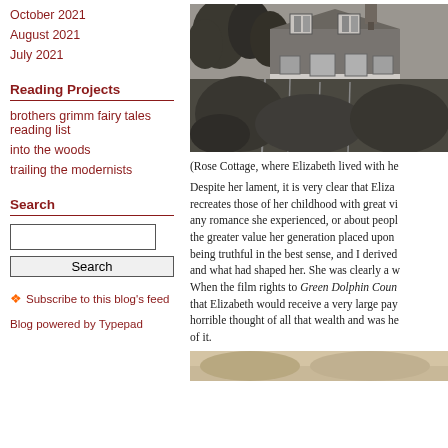October 2021
August 2021
July 2021
Reading Projects
brothers grimm fairy tales reading list
into the woods
trailing the modernists
Search
Subscribe to this blog's feed
Blog powered by Typepad
[Figure (photo): Black and white photograph of Rose Cottage, a stone cottage with dormer windows surrounded by overgrown garden vegetation]
(Rose Cottage, where Elizabeth lived with he
Despite her lament, it is very clear that Eliza... recreates those of her childhood with great vi... any romance she experienced, or about peopl... the greater value her generation placed upon... being truthful in the best sense, and I derived... and what had shaped her. She was clearly a w... When the film rights to Green Dolphin Coun... that Elizabeth would receive a very large pay... horrible thought of all that wealth and was he... of it.
[Figure (photo): Partial view of a second photograph at the bottom of the page]